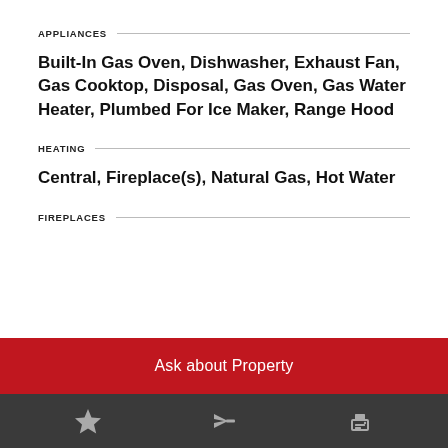APPLIANCES
Built-In Gas Oven, Dishwasher, Exhaust Fan, Gas Cooktop, Disposal, Gas Oven, Gas Water Heater, Plumbed For Ice Maker, Range Hood
HEATING
Central, Fireplace(s), Natural Gas, Hot Water
FIREPLACES
Ask about Property